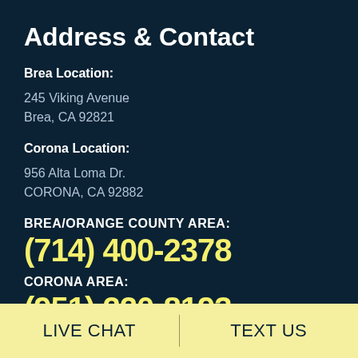Address & Contact
Brea Location:
245 Viking Avenue
Brea, CA 92821
Corona Location:
956 Alta Loma Dr.
CORONA, CA 92882
BREA/ORANGE COUNTY AREA:
(714) 400-2378
CORONA AREA:
(951) 220-8193
LIVE CHAT   TEXT US